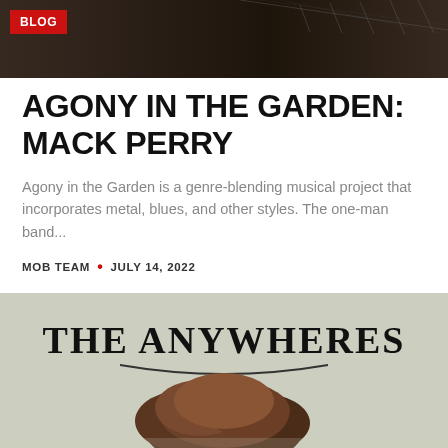[Figure (photo): Dark sepia-toned photo of a guitarist playing electric guitar, cropped to show upper body and guitar neck, with a red BLOG badge overlay in the top-left corner]
AGONY IN THE GARDEN: MACK PERRY
Agony in the Garden is a genre-blending musical project that incorporates metal, blues, and other styles. The one-man band...
MOB TEAM • JULY 14, 2022
[Figure (photo): Album or band artwork showing 'THE ANYWHERES' text in decorative black lettering on a light grey/green background, with a dark brown tree or bush shape at the bottom center]